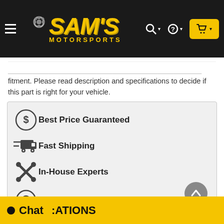[Figure (logo): Sam's Motorsports logo with gear icon, yellow text on dark background, navigation icons]
fitment. Please read description and specifications to decide if this part is right for your vehicle.
[Figure (infographic): Feature list with icons: Best Price Guaranteed, Fast Shipping, In-House Experts, 30-Day Return Guarantee, International Shipping]
Chat
CATIONS